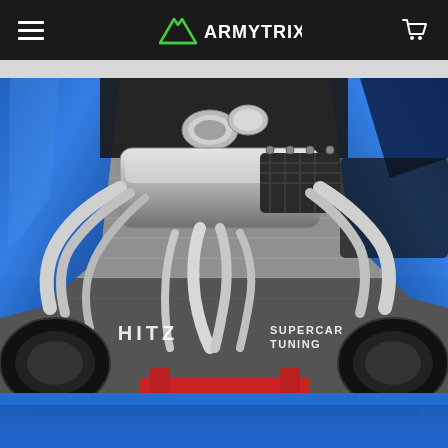ARMYTRIX — navigation header with hamburger menu, logo, and cart icon
[Figure (photo): Undercarriage view of a blue performance car lifted on a hoist, showing a polished stainless steel exhaust system/headers, with HITZ SUPERCAR TUNING watermark text overlaid on the image. Bottom portion shows blue front bumper of car.]